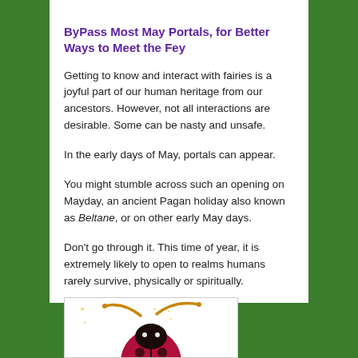ByPass Most May Portals, for Better Ways to Meet the Fey
Getting to know and interact with fairies is a joyful part of our human heritage from our ancestors. However, not all interactions are desirable. Some can be nasty and unsafe.
In the early days of May, portals can appear.
You might stumble across such an opening on Mayday, an ancient Pagan holiday also known as Beltane, or on other early May days.
Don't go through it. This time of year, it is extremely likely to open to realms humans rarely survive, physically or spiritually.
[Figure (illustration): Decorative illustration of a stylized ladybug with golden curved antennae and small star-like sparkles, magenta/crimson body, white background, partially cropped at bottom of page]